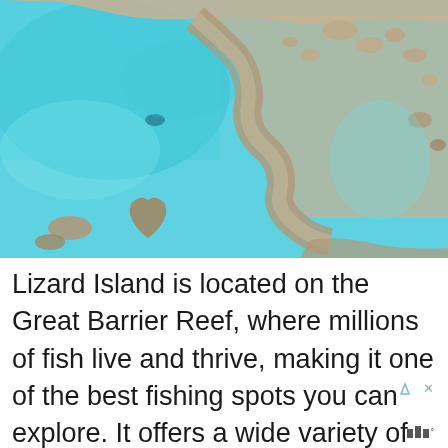[Figure (photo): Aerial photograph of the Great Barrier Reef showing coral formations and turquoise blue water from above, with a winding coral reef structure visible.]
Lizard Island is located on the Great Barrier Reef, where millions of fish live and thrive, making it one of the best fishing spots you can explore. It offers a wide variety of fish, including trevally, mackerel, queenfish, and giant black...